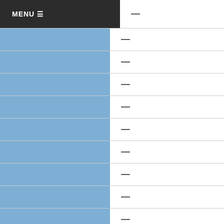| Category | Value |
| --- | --- |
| MENU | — |
|  | — |
|  | — |
|  | — |
|  | — |
|  | — |
|  | — |
|  | — |
|  | — |
|  | — |
American Indian or Alaska Native
| Category | Value |
| --- | --- |
|  | 0 |